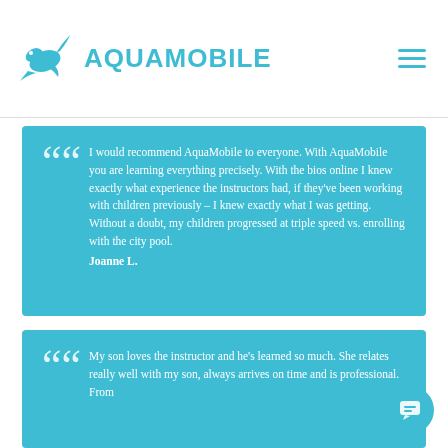AQUAMOBILE
I would recommend AquaMobile to everyone. With AquaMobile you are learning everything precisely. With the bios online I knew exactly what experience the instructors had, if they've been working with children previously – I knew exactly what I was getting. Without a doubt, my children progressed at triple speed vs. enrolling with the city pool. Joanne L.
My son loves the instructor and he's learned so much. She relates really well with my son, always arrives on time and is professional. From